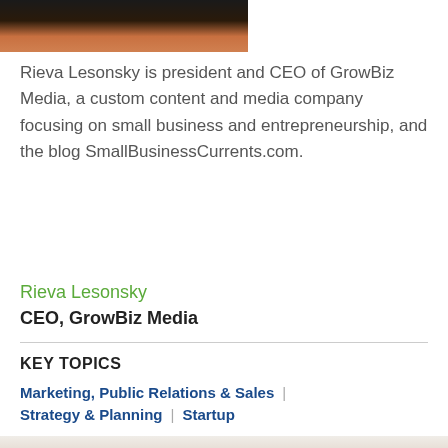[Figure (photo): Partial photo of Rieva Lesonsky at top of page (cropped, dark background)]
Rieva Lesonsky is president and CEO of GrowBiz Media, a custom content and media company focusing on small business and entrepreneurship, and the blog SmallBusinessCurrents.com.
Rieva Lesonsky
CEO, GrowBiz Media
KEY TOPICS
Marketing, Public Relations & Sales | Strategy & Planning | Startup
[Figure (photo): Partial photo of two women at the bottom of the page (cropped)]